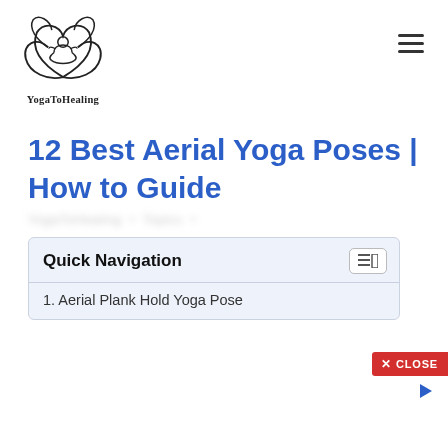[Figure (logo): YogaToHealing lotus logo with meditating figure, black line art]
YogaToHealing
12 Best Aerial Yoga Poses | How to Guide
[blurred subtitle text]
Quick Navigation
1. Aerial Plank Hold Yoga Pose